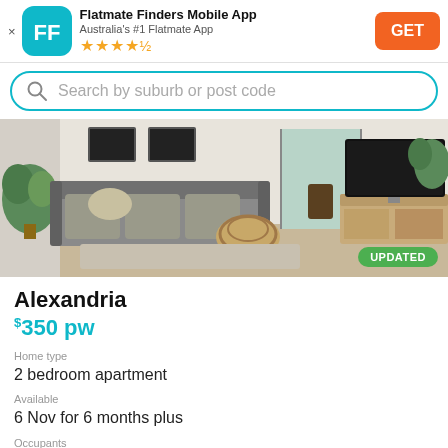[Figure (logo): Flatmate Finders app banner with FF logo icon, app title, star rating, and GET button]
Search by suburb or post code
[Figure (photo): Interior photo of a modern living room with grey sofa, wicker coffee table, plants, TV on wooden sideboard, and balcony in background. 'UPDATED' badge in bottom right.]
Alexandria
$350 pw
Home type
2 bedroom apartment
Available
6 Nov for 6 months plus
Occupants
31 to 35 yrs, Female/Male (str)